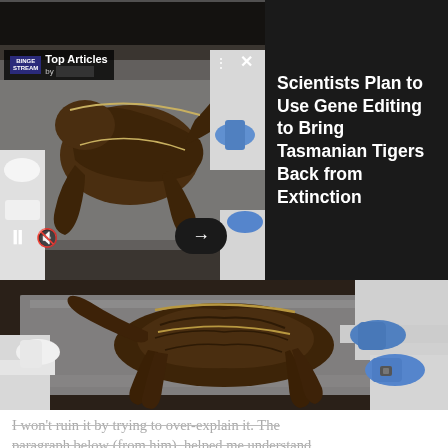[Figure (screenshot): A web article card / video player UI showing 'Top Articles by [source]' overlay with a dark background. Left side shows a thumbnail of scientists in white lab coats and blue gloves examining a preserved animal specimen (likely Tasmanian tiger) laid on a silver surface. UI controls visible: pause button, mute button, arrow/next button, three-dot menu, X close button.]
Scientists Plan to Use Gene Editing to Bring Tasmanian Tigers Back from Extinction
[Figure (photo): A large photograph showing scientists/researchers in white lab coats and gloves (white and blue) examining a mummified or preserved Tasmanian tiger specimen laid out on a silver/metallic surface. The specimen is dark brown, showing the body and skeletal structure. Multiple hands visible handling the specimen.]
I won't ruin it by trying to over-explain it. The paragraph below (from him), helped me understand